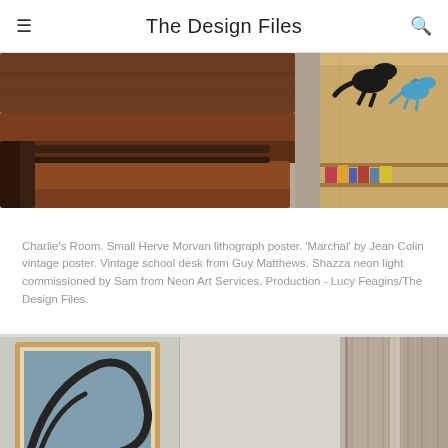The Design Files
[Figure (photo): Close-up of a vintage wooden school desk with metal frame, and a wooden side table with toy dinosaurs on top, including a black T-rex and blue dinosaur figurines.]
Charlie's Room. Small Herve Morvan lithograph poster. 'Marchal' by Jean Colin vintage poster. Vintage school desk from Guy Matthews. Shazza neon light commissioned by Sam from Neon Art Services. Production - Lucy Feagins/The Design Files.
[Figure (photo): Interior corner of a room showing grey walls, a framed artwork with a dark circular/abstract design, and floor-length taupe/beige linen curtains hanging from ceiling height.]